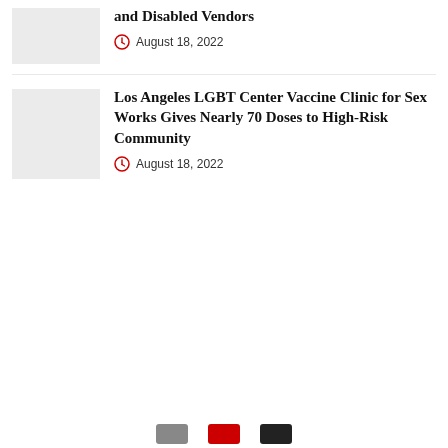and Disabled Vendors
August 18, 2022
Los Angeles LGBT Center Vaccine Clinic for Sex Works Gives Nearly 70 Doses to High-Risk Community
August 18, 2022